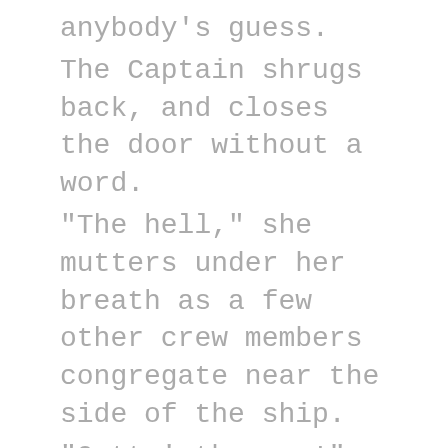anybody's guess.
The Captain shrugs back, and closes the door without a word.
"The hell," she mutters under her breath as a few other crew members congregate near the side of the ship.
"Outta' the way!" Engineer Luisoix yells as he hauls a huge bin of random crap that he got from under his bunk. "Outta' the way!" He says again in desperation as a small skull peeks out from the tall side of the other ship.
"Ayyyyyy-" starts a small skeleton with his own bin full of crap.
"Ayyyheyyyyyy!" Luisoix responds in an equally annoying manner. The skeleton comes down with all sorts of other creatures, both living and dead, each with something to trade.